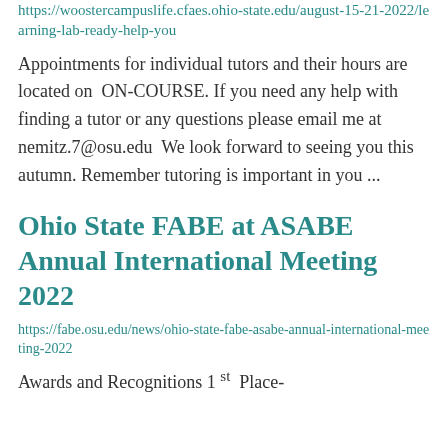https://woostercampuslife.cfaes.ohio-state.edu/august-15-21-2022/learning-lab-ready-help-you
Appointments for individual tutors and their hours are located on ON-COURSE. If you need any help with finding a tutor or any questions please email me at nemitz.7@osu.edu We look forward to seeing you this autumn. Remember tutoring is important in you ...
Ohio State FABE at ASABE Annual International Meeting 2022
https://fabe.osu.edu/news/ohio-state-fabe-asabe-annual-international-meeting-2022
Awards and Recognitions 1 st Place-